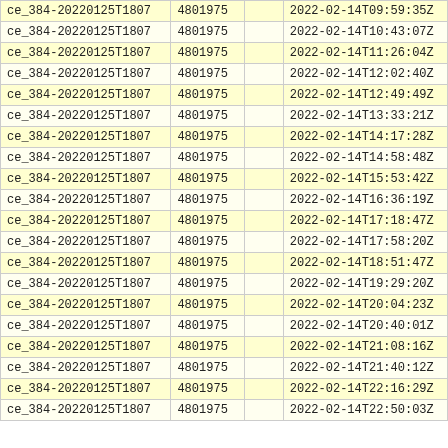| ce_384-20220125T1807 | 4801975 |  | 2022-02-14T09:59:35Z |
| ce_384-20220125T1807 | 4801975 |  | 2022-02-14T10:43:07Z |
| ce_384-20220125T1807 | 4801975 |  | 2022-02-14T11:26:04Z |
| ce_384-20220125T1807 | 4801975 |  | 2022-02-14T12:02:40Z |
| ce_384-20220125T1807 | 4801975 |  | 2022-02-14T12:49:49Z |
| ce_384-20220125T1807 | 4801975 |  | 2022-02-14T13:33:21Z |
| ce_384-20220125T1807 | 4801975 |  | 2022-02-14T14:17:28Z |
| ce_384-20220125T1807 | 4801975 |  | 2022-02-14T14:58:48Z |
| ce_384-20220125T1807 | 4801975 |  | 2022-02-14T15:53:42Z |
| ce_384-20220125T1807 | 4801975 |  | 2022-02-14T16:36:19Z |
| ce_384-20220125T1807 | 4801975 |  | 2022-02-14T17:18:47Z |
| ce_384-20220125T1807 | 4801975 |  | 2022-02-14T17:58:20Z |
| ce_384-20220125T1807 | 4801975 |  | 2022-02-14T18:51:47Z |
| ce_384-20220125T1807 | 4801975 |  | 2022-02-14T19:29:20Z |
| ce_384-20220125T1807 | 4801975 |  | 2022-02-14T20:04:23Z |
| ce_384-20220125T1807 | 4801975 |  | 2022-02-14T20:40:01Z |
| ce_384-20220125T1807 | 4801975 |  | 2022-02-14T21:08:16Z |
| ce_384-20220125T1807 | 4801975 |  | 2022-02-14T21:40:12Z |
| ce_384-20220125T1807 | 4801975 |  | 2022-02-14T22:16:29Z |
| ce_384-20220125T1807 | 4801975 |  | 2022-02-14T22:50:03Z |